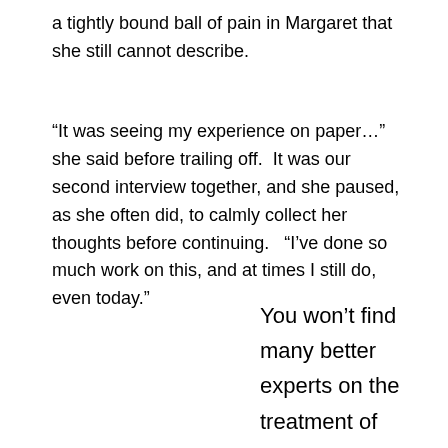a tightly bound ball of pain in Margaret that she still cannot describe.
“It was seeing my experience on paper…” she said before trailing off.  It was our second interview together, and she paused, as she often did, to calmly collect her thoughts before continuing.   “I’ve done so much work on this, and at times I still do, even today.”
You won’t find many better experts on the treatment of sexual